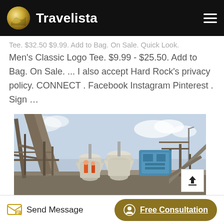Travelista
Tee. $32.50 $9.99. Add to Bag. On Sale. Quick Look. Men's Classic Logo Tee. $9.99 - $25.50. Add to Bag. On Sale. ... I also accept Hard Rock's privacy policy. CONNECT . Facebook Instagram Pinterest . Sign …
[Figure (photo): Industrial mining or quarrying facility with large cone crusher machinery, metal scaffolding and conveyor structures, workers in orange safety gear, blue sky background]
Send Message | Free Consultation